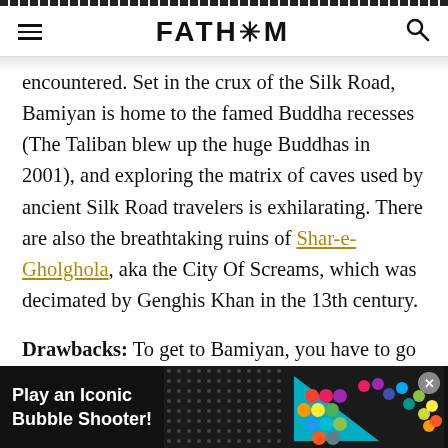FATH*M
encountered. Set in the crux of the Silk Road, Bamiyan is home to the famed Buddha recesses (The Taliban blew up the huge Buddhas in 2001), and exploring the matrix of caves used by ancient Silk Road travelers is exhilarating. There are also the breathtaking ruins of Shar-e-Gholghola, aka the City Of Screams, which was decimated by Genghis Khan in the 13th century.
Drawbacks: To get to Bamiyan, you have to go through Kabul, which is to say right now at currently the best Foreign... able
[Figure (infographic): Advertisement banner: 'Play an Iconic Bubble Shooter!' with colorful bubble graphic and close button]